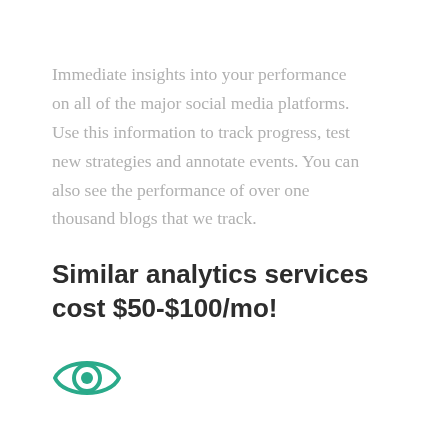Immediate insights into your performance on all of the major social media platforms. Use this information to track progress, test new strategies and annotate events. You can also see the performance of over one thousand blogs that we track.
Similar analytics services cost $50-$100/mo!
[Figure (illustration): Teal/green eye icon outline with a filled circle in the center]